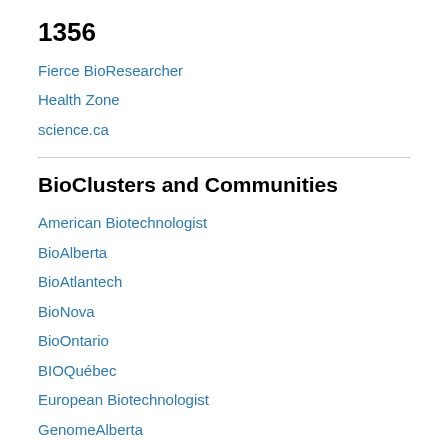1356
Fierce BioResearcher
Health Zone
science.ca
BioClusters and Communities
American Biotechnologist
BioAlberta
BioAtlantech
BioNova
BioOntario
BIOQuébec
European Biotechnologist
GenomeAlberta
I Am Biotech
OCRI Life Sciences
PEI BioScienceCluster
Steinberg Biotechnology Research Center